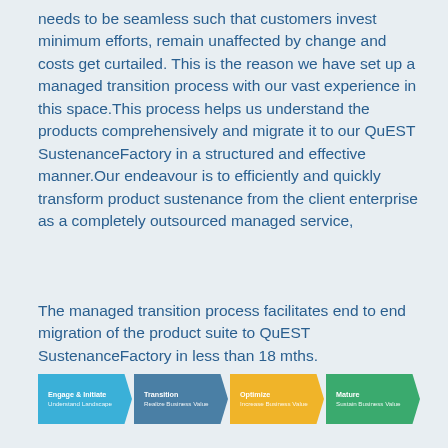needs to be seamless such that customers invest minimum efforts, remain unaffected by change and costs get curtailed. This is the reason we have set up a managed transition process with our vast experience in this space.This process helps us understand the products comprehensively and migrate it to our QuEST SustenanceFactory in a structured and effective manner.Our endeavour is to efficiently and quickly transform product sustenance from the client enterprise as a completely outsourced managed service,
The managed transition process facilitates end to end migration of the product suite to QuEST SustenanceFactory in less than 18 mths.
[Figure (flowchart): Four-stage process flow diagram with arrows: 1) Engage & Initiate - Understand Landscape (light blue), 2) Transition - Realize Business Value (steel blue), 3) Optimize - Increase Business Value (yellow/amber), 4) Mature - Sustain Business Value (green)]